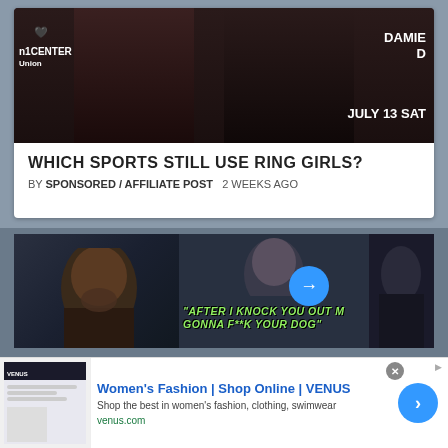[Figure (photo): Photo of two women in Monster Energy branded black bikini tops, with arena signage showing 'n1 CENTER', 'OAMIE D', and 'JULY 13 SAT']
WHICH SPORTS STILL USE RING GIRLS?
BY SPONSORED / AFFILIATE POST   2 WEEKS AGO
[Figure (screenshot): Video thumbnail showing MMA fighter with tags 'MMA NEWS' and 'OPI...' and text overlay reading "AFTER I KNOCK YOU OUT M GONNA F**K YOUR DOG"]
[Figure (photo): Advertisement for Women's Fashion | Shop Online | VENUS showing website screenshot with clothing items]
Women's Fashion | Shop Online | VENUS
Shop the best in women's fashion, clothing, swimwear
venus.com